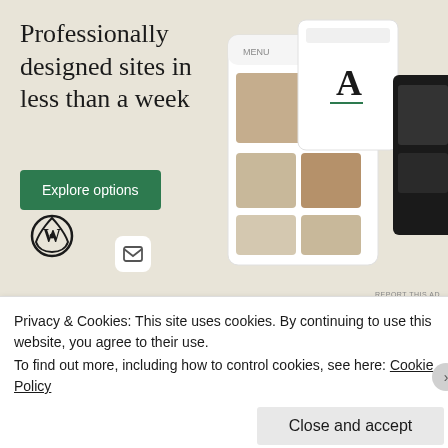[Figure (screenshot): WordPress advertisement banner showing 'Professionally designed sites in less than a week' with a green 'Explore options' button, WordPress logo, and mock website screenshots on a beige background.]
Teilen mit:
[Figure (screenshot): Social sharing buttons for Twitter and Facebook]
Privacy & Cookies: This site uses cookies. By continuing to use this website, you agree to their use.
To find out more, including how to control cookies, see here: Cookie Policy
Close and accept